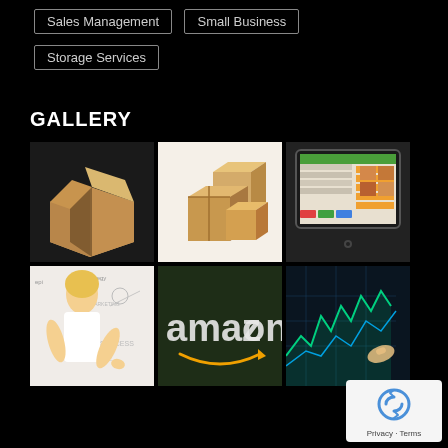Sales Management
Small Business
Storage Services
GALLERY
[Figure (photo): Open cardboard shipping box]
[Figure (photo): Multiple cardboard boxes stacked]
[Figure (photo): Tablet showing POS/sales management software with orange and green UI]
[Figure (photo): Young blonde woman pointing at business diagrams and success concepts on white background]
[Figure (photo): Amazon logo on dark background/wall]
[Figure (photo): Stock market chart with finger pointing, blue/green digital display]
[Figure (logo): Google reCAPTCHA badge with Privacy and Terms links]